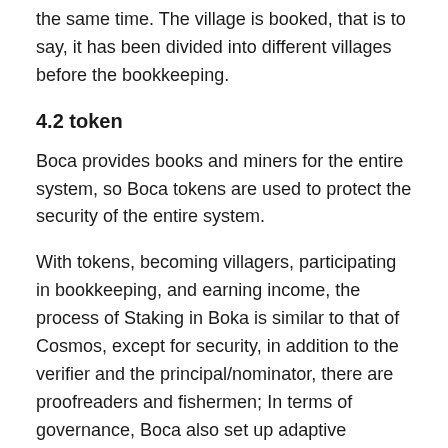the same time. The village is booked, that is to say, it has been divided into different villages before the bookkeeping.
4.2 token
Boca provides books and miners for the entire system, so Boca tokens are used to protect the security of the entire system.
With tokens, becoming villagers, participating in bookkeeping, and earning income, the process of Staking in Boka is similar to that of Cosmos, except for security, in addition to the verifier and the principal/nominator, there are proofreaders and fishermen; In terms of governance, Boca also set up adaptive arbitration bias and the certifier council.
But this does not mean that parallel chains cannot create their own tokens. Parallel chain tokens can be more